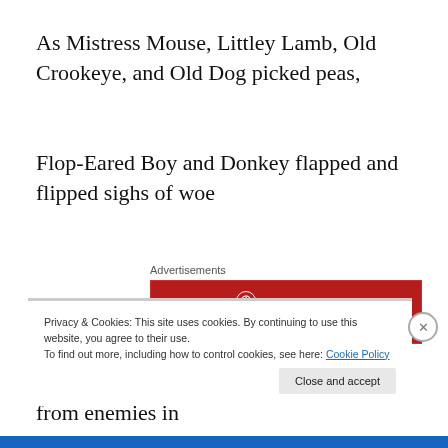As Mistress Mouse, Littley Lamb, Old Crookeye, and Old Dog picked peas,
Flop-Eared Boy and Donkey flapped and flipped sighs of woe
[Figure (other): Longreads advertisement banner — red background with logo and tagline: 'The best stories on the web – ours, and everyone else's.']
From way out in front near raging cursin' from enemies in
Privacy & Cookies: This site uses cookies. By continuing to use this website, you agree to their use.
To find out more, including how to control cookies, see here: Cookie Policy
Close and accept